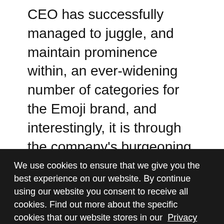CEO has successfully managed to juggle, and maintain prominence within, an ever-widening number of categories for the Emoji brand, and interestingly, it is through the company's burgeoning loyalty programme category that much of its success has been born.
“We launched a variety of campaigns with partners such as Aldi, Penny or Co-Op,” continued Huesges, “and we have been very successful with Emoji collectabl toys within loyalty programmes, which
We use cookies to ensure that we give you the best experience on our website. By continue using our website you consent to receive all cookies. Find out more about the specific cookies that our website stores in our Privacy Policy